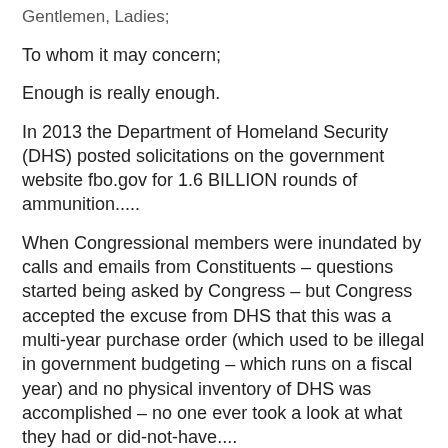Gentlemen, Ladies;
To whom it may concern;
Enough is really enough.
In 2013 the Department of Homeland Security (DHS) posted solicitations on the government website fbo.gov for 1.6 BILLION rounds of ammunition.....
When Congressional members were inundated by calls and emails from Constituents – questions started being asked by Congress – but Congress accepted the excuse from DHS that this was a multi-year purchase order (which used to be illegal in government budgeting – which runs on a fiscal year) and no physical inventory of DHS was accomplished – no one ever took a look at what they had or did-not-have....
A week ago we discovered another solicitation on fbo.gov from DHS for 62 million rounds of M-16